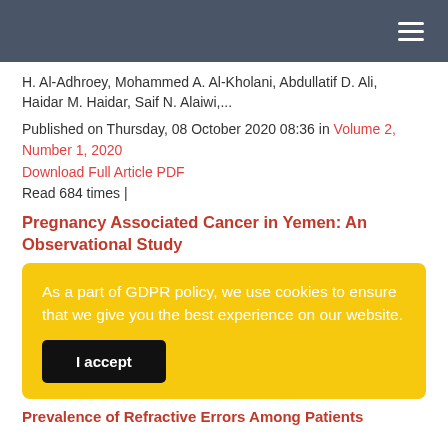≡
H. Al-Adhroey, Mohammed A. Al-Kholani, Abdullatif D. Ali, Haidar M. Haidar, Saif N. Alaiwi,...
Published on Thursday, 08 October 2020 08:36 in Volume 2, Number 1, 2020
Download Full Article PDF
Read 684 times |
Pregnancy Associated Cancer in Yemen: An Observational Study
As a part of GDPR policy, we use cookies to ensure that we give you the best experience on our website.
I accept
Prevalence of Refractive Errors Among Patients